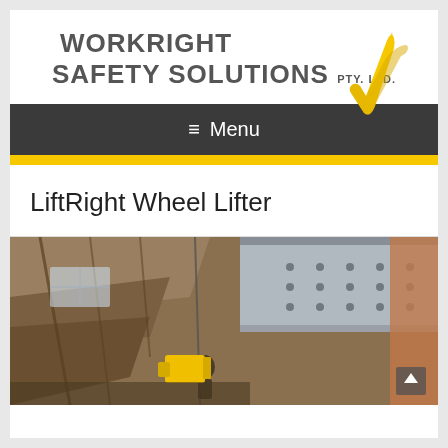[Figure (logo): WorkRight Safety Solutions Pty. Ltd. logo with yellow checkmark]
≡  Menu
[Figure (other): Yellow accent bar / divider]
LiftRight Wheel Lifter
[Figure (photo): Industrial warehouse photo showing heavy lifting equipment / machinery from below, with a person operating yellow equipment under a large metal structure]